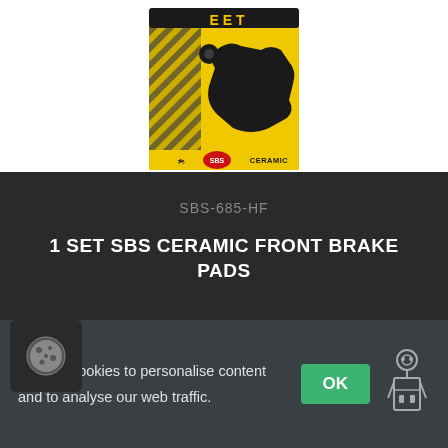[Figure (photo): SBS ceramic front brake pads product packaging - yellow and black striped package with a black brake pad silhouette and CERAMIC label at bottom]
SBS-685-HF
1 SET SBS CERAMIC FRONT BRAKE PADS
£25.44
[Figure (other): Red Add to Basket button (partially visible)]
We use cookies to personalise content and to analyse our web traffic.
[Figure (other): Cookie icon - small circular cookie with bite marks, white on dark background]
[Figure (other): Green OK button for cookie consent]
[Figure (other): Settings/robot icon on the right side of cookie bar]